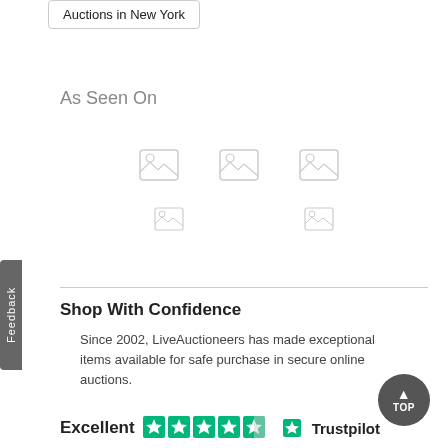Auctions in New York
As Seen On
[Figure (illustration): Five placeholder media/image icons arranged in two rows representing 'As Seen On' media logos]
Shop With Confidence
Since 2002, LiveAuctioneers has made exceptional items available for safe purchase in secure online auctions.
[Figure (logo): Trustpilot rating: Excellent with 4.5 stars out of 5 — green star rating boxes and Trustpilot logo]